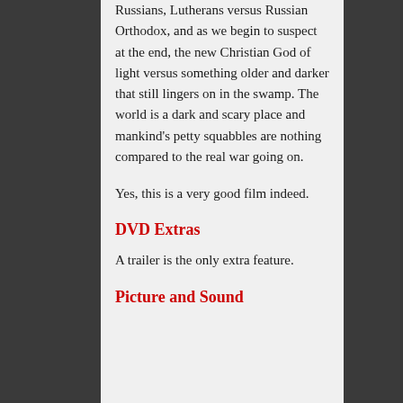Russians, Lutherans versus Russian Orthodox, and as we begin to suspect at the end, the new Christian God of light versus something older and darker that still lingers on in the swamp. The world is a dark and scary place and mankind's petty squabbles are nothing compared to the real war going on.
Yes, this is a very good film indeed.
DVD Extras
A trailer is the only extra feature.
Picture and Sound